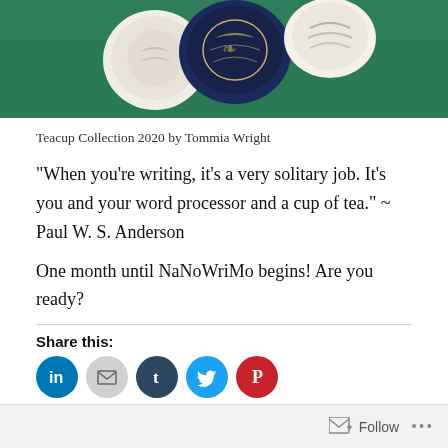[Figure (photo): Photo of teacup collection on a green surface, viewed from above. Shows decorative cups with patterns.]
Teacup Collection 2020 by Tommia Wright
“When you’re writing, it’s a very solitary job. It’s you and your word processor and a cup of tea.” ~ Paul W. S. Anderson
One month until NaNoWriMo begins! Are you ready?
Share this:
[Figure (infographic): Social sharing icons: LinkedIn (blue), Email (gray), Tumblr (dark blue), Twitter (light blue), Pinterest (red)]
Loading...